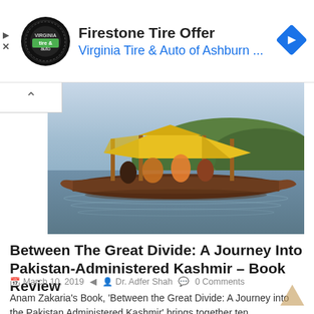[Figure (advertisement): Firestone Tire Offer ad banner with Virginia Tire & Auto of Ashburn logo and navigation icon]
[Figure (photo): A traditional shikara boat with yellow canopy on a calm lake, with green hills and sky in the background, passengers visible inside the boat]
Between The Great Divide: A Journey Into Pakistan-Administered Kashmir – Book Review
March 10, 2019    Dr. Adfer Shah    0 Comments
Anam Zakaria's Book, 'Between the Great Divide: A Journey into the Pakistan Administered Kashmir' brings together ten